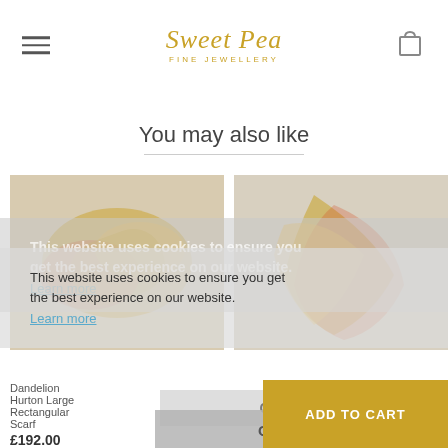Sweet Pea Fine Jewellery
You may also like
[Figure (photo): Left product: silk scarf in yellow and red tones, folded/bundled on a light surface]
[Figure (photo): Right product: silk scarf in yellow and red/pink tones, twisted on a light surface]
This website uses cookies to ensure you get the best experience on our website. Learn more
This website uses cookies to ensure you get the best experience on our website. Learn more
Got it!
Got it!
Dandelion
Hurton Large Rectangular Scarf
£192.00
incl VAT
(£160.00 excl
ADD TO CART